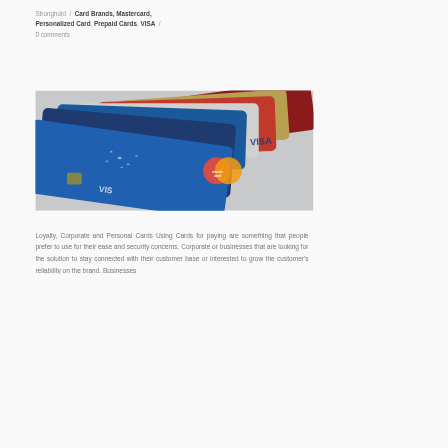Stronghold / Card Brands, Mastercard, Personalized Card, Prepaid Cards, VISA / 0 comments
[Figure (photo): Stack of various credit and debit cards including Visa and Mastercard branded cards, fanned out showing blue, red, gold and dark red card faces with card logos visible]
Loyalty, Corporate and Personal Cards Using Cards for paying are something that people prefer to use for their ease and security concerns. Corporate or businesses that are looking for the solution to stay connected with their customer base or interested to grow the customer's reliability on the brand. Businesses